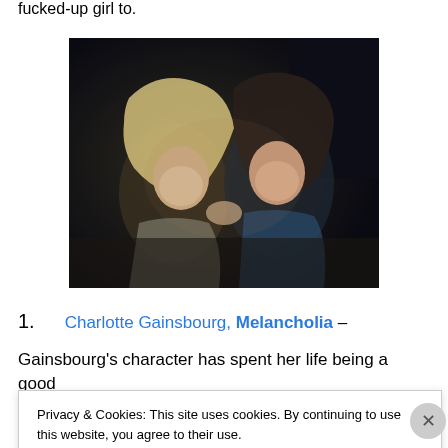fucked-up girl to.
[Figure (photo): Two women in a dark, moody scene — one blonde leaning toward the other dark-haired woman, from the film Melancholia.]
1.   Charlotte Gainsbourg, Melancholia –
Gainsbourg's character has spent her life being a good
Privacy & Cookies: This site uses cookies. By continuing to use this website, you agree to their use.
To find out more, including how to control cookies, see here: Cookie Policy
Close and accept